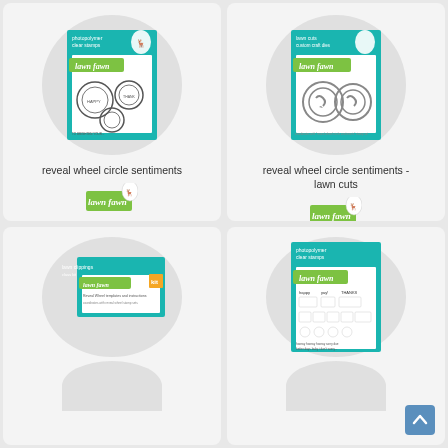[Figure (photo): Product card for 'reveal wheel circle sentiments' stamp set showing teal packaging with circular sentiment stamps and Lawn Fawn deer logo]
[Figure (photo): Product card for 'reveal wheel circle sentiments - lawn cuts' die set showing teal packaging with circle-shaped metal dies and Lawn Fawn deer logo]
[Figure (photo): Product card showing 'lawn clippings' product in teal packaging, partially visible at bottom of page]
[Figure (photo): Product card showing a stamp set with various sentiments and small character images in teal packaging, partially visible at bottom of page]